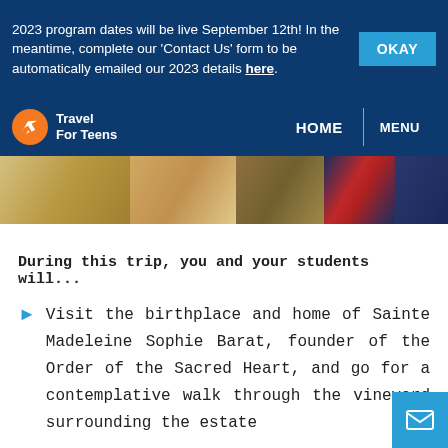2023 program dates will be live September 12th! In the meantime, complete our 'Contact Us' form to be automatically emailed our 2023 details here.
Travel For Teens | HOME | MENU
[Figure (photo): Hero banner image showing teen travelers in various outdoor settings]
During this trip, you and your students will...
Visit the birthplace and home of Sainte Madeleine Sophie Barat, founder of the Order of the Sacred Heart, and go for a contemplative walk through the vineyard surrounding the estate